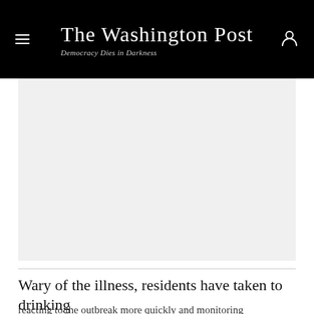The Washington Post — Democracy Dies in Darkness
[Figure (photo): Large photograph placeholder area (light gray background), showing an image related to the article about residents reacting to illness by drinking.]
Wary of the illness, residents have taken to drinking
reacting to the outbreak more quickly and monitoring